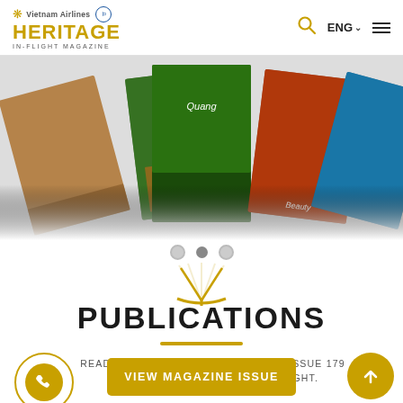Vietnam Airlines Heritage In-Flight Magazine
[Figure (photo): Fan-shaped arrangement of five Heritage magazine covers showing various Vietnam travel destinations]
PUBLICATIONS
READ HERITAGE FASHION MAGAZINE ISSUE 179 ON EVERY VIETNAM AIRLINES FLIGHT.